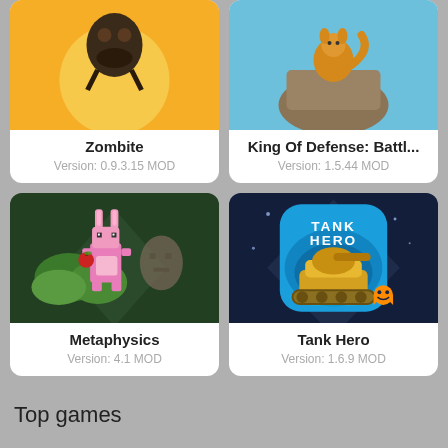[Figure (screenshot): Zombite game card with yellow background showing a game character icon at top, title Zombite, Version: 0.9.3.15 MOD]
[Figure (screenshot): King Of Defense: Battl... game card with blue background showing a game character on rocks icon at top, title King Of Defense: Battl..., Version: 1.5.44 MOD]
[Figure (screenshot): Metaphysics game card with dark green background showing a pixel art rabbit character icon, title Metaphysics, Version: 4.1 MOD]
[Figure (screenshot): Tank Hero game card with dark blue background showing a tank game icon, title Tank Hero, Version: 1.6.9 MOD]
Top games